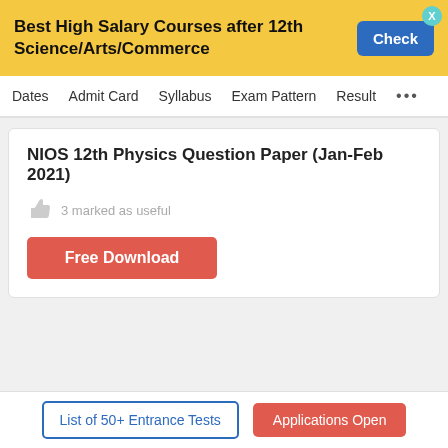Best High Salary Courses after 12th Science/Arts/Commerce
Dates  Admit Card  Syllabus  Exam Pattern  Result  ...
NIOS 12th Physics Question Paper (Jan-Feb 2021)
3 marked as useful
Free Download
Explore Schools in Other Popular Locations
List of 50+ Entrance Tests   Applications Open